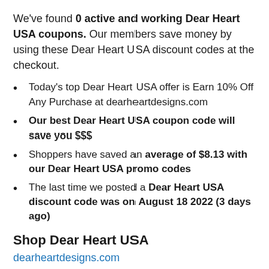We've found 0 active and working Dear Heart USA coupons. Our members save money by using these Dear Heart USA discount codes at the checkout.
Today's top Dear Heart USA offer is Earn 10% Off Any Purchase at dearheartdesigns.com
Our best Dear Heart USA coupon code will save you $$$
Shoppers have saved an average of $8.13 with our Dear Heart USA promo codes
The last time we posted a Dear Heart USA discount code was on August 18 2022 (3 days ago)
Shop Dear Heart USA
dearheartdesigns.com